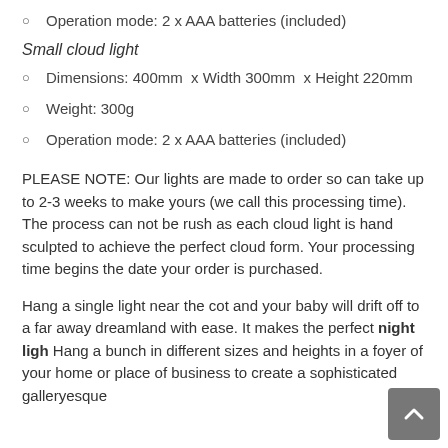Operation mode: 2 x AAA batteries (included)
Small cloud light
Dimensions: 400mm  x Width 300mm  x Height 220mm
Weight: 300g
Operation mode: 2 x AAA batteries (included)
PLEASE NOTE: Our lights are made to order so can take up to 2-3 weeks to make yours (we call this processing time). The process can not be rush as each cloud light is hand sculpted to achieve the perfect cloud form. Your processing time begins the date your order is purchased.
Hang a single light near the cot and your baby will drift off to a far away dreamland with ease. It makes the perfect night ligh Hang a bunch in different sizes and heights in a foyer of your home or place of business to create a sophisticated galleryesque